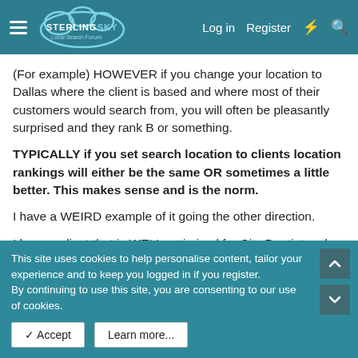Sterling Sky Local Search Forum — Log in | Register
(For example) HOWEVER if you change your location to Dallas where the client is based and where most of their customers would search from, you will often be pleasantly surprised and they rank B or something.
TYPICALLY if you set search location to clients location rankings will either be the same OR sometimes a little better. This makes sense and is the norm.
I have a WEIRD example of it going the other direction.
I have a client that is WELL optimized for City Dentist and for a long time they've ranked A for City Dentist. (When location set
This site uses cookies to help personalise content, tailor your experience and to keep you logged in if you register.
By continuing to use this site, you are consenting to our use of cookies.